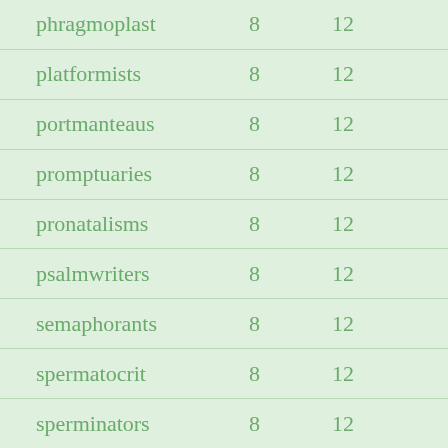| phragmoplast | 8 | 12 |
| platformists | 8 | 12 |
| portmanteaus | 8 | 12 |
| promptuaries | 8 | 12 |
| pronatalisms | 8 | 12 |
| psalmwriters | 8 | 12 |
| semaphorants | 8 | 12 |
| spermatocrit | 8 | 12 |
| sperminators | 8 | 12 |